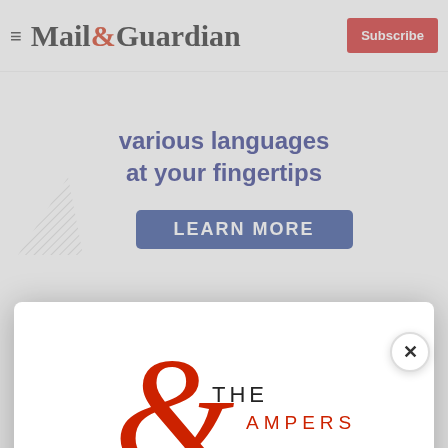Mail&Guardian — Subscribe
[Figure (illustration): Ad banner with text 'various languages at your fingertips' and a Learn More button in dark blue]
[Figure (logo): The Ampersand newsletter logo — large red ampersand with THE AMPERSAND text]
Stay informed. Every weekday.
E-mail Address
Signup now